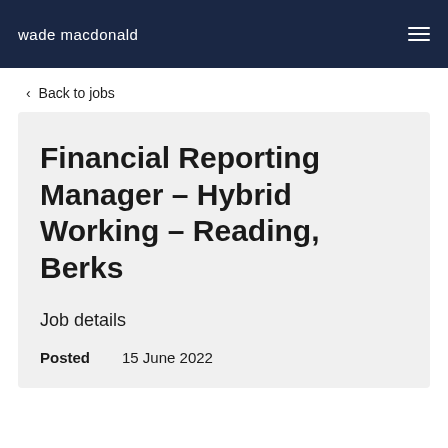wade macdonald
< Back to jobs
Financial Reporting Manager - Hybrid Working - Reading, Berks
Job details
Posted   15 June 2022